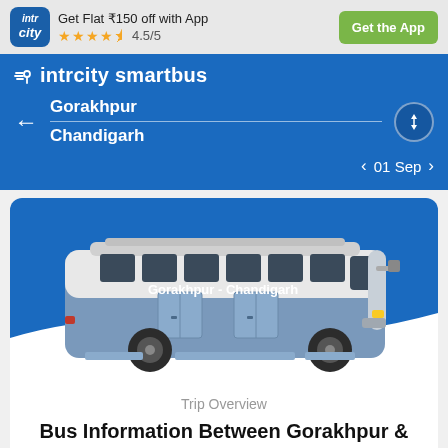[Figure (screenshot): IntrCity app logo — blue rounded square with 'intr city' text in white italic]
Get Flat ₹150 off with App
★★★★½ 4.5/5
Get the App
intrcity smartbus
Gorakhpur
Chandigarh
01 Sep
[Figure (illustration): Side view illustration of a blue and white intercity coach bus with text 'Gorakhpur - Chandigarh' on its side, displayed on a blue background with white wave at the bottom]
Trip Overview
Bus Information Between Gorakhpur & Chandigarh